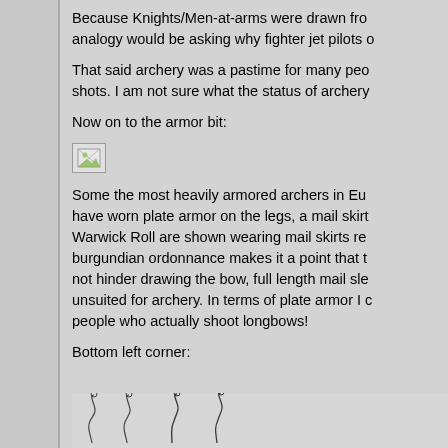Because Knights/Men-at-arms were drawn fro... analogy would be asking why fighter jet pilots ...
That said archery was a pastime for many peo... shots. I am not sure what the status of archery...
Now on to the armor bit:
[Figure (illustration): Broken/missing image placeholder icon]
Some the most heavily armored archers in Eu... have worn plate armor on the legs, a mail skirt... Warwick Roll are shown wearing mail skirts re... burgundian ordonnance makes it a point that t... not hinder drawing the bow, full length mail sle... unsuited for archery. In terms of plate armor I ... people who actually shoot longbows!
Bottom left corner:
[Figure (illustration): Sketch/drawing of figures, partially visible at bottom of page]